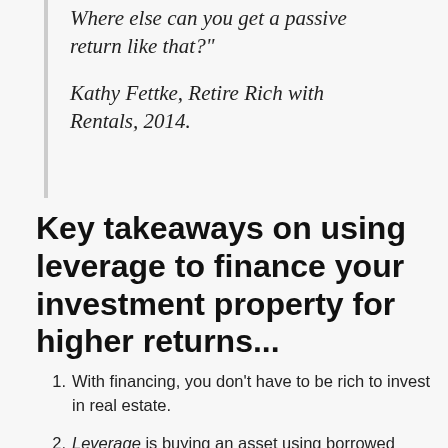Where else can you get a passive return like that?"
Kathy Fettke, Retire Rich with Rentals, 2014.
Key takeaways on using leverage to finance your investment property for higher returns...
With financing, you don't have to be rich to invest in real estate.
Leverage is buying an asset using borrowed funds, with the belief that the income from the